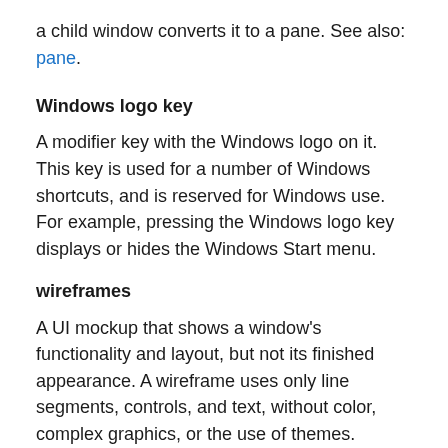a child window converts it to a pane. See also: pane.
Windows logo key
A modifier key with the Windows logo on it. This key is used for a number of Windows shortcuts, and is reserved for Windows use. For example, pressing the Windows logo key displays or hides the Windows Start menu.
wireframes
A UI mockup that shows a window's functionality and layout, but not its finished appearance. A wireframe uses only line segments, controls, and text, without color, complex graphics, or the use of themes.
wizard
A sequence of pages that guides users through a multi-step, infrequently performed task. Effective wizards reduce the